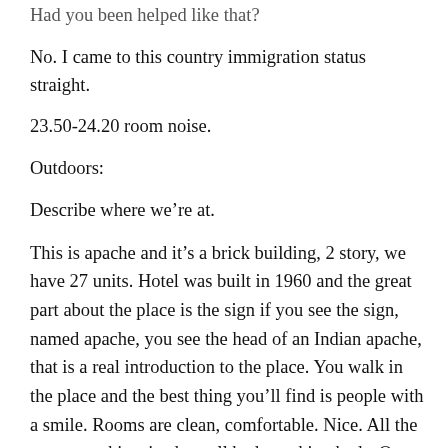Had you been helped like that?
No. I came to this country immigration status straight.
23.50-24.20 room noise.
Outdoors:
Describe where we’re at.
This is apache and it’s a brick building, 2 story, we have 27 units. Hotel was built in 1960 and the great part about the place is the sign if you see the sign, named apache, you see the head of an Indian apache, that is a real introduction to the place. You walk in the place and the best thing you’ll find is people with a smile. Rooms are clean, comfortable. Nice. All the rooms are kingsized, so all beds are king beds. Over the years we have improved the property a lot. Best thing we have done, we take out